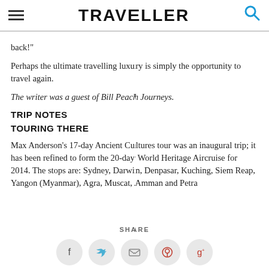TRAVELLER
back!"
Perhaps the ultimate travelling luxury is simply the opportunity to travel again.
The writer was a guest of Bill Peach Journeys.
TRIP NOTES
TOURING THERE
Max Anderson's 17-day Ancient Cultures tour was an inaugural trip; it has been refined to form the 20-day World Heritage Aircruise for 2014. The stops are: Sydney, Darwin, Denpasar, Kuching, Siem Reap, Yangon (Myanmar), Agra, Muscat, Amman and Petra